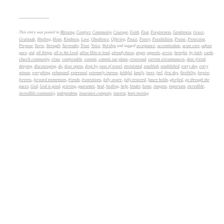This entry was posted in Blessing, Comfort, Community, Courage, Faith, Fear, Forgiveness, Gentleness, Grace, Gratitude, Healing, Hope, Kindness, Love, Obedience, Offering, Peace, Poetry, Possibilities, Praise, Protection, Purpose, Serve, Strength, Surrender, Trust, Voice, Worship and tagged acceptance, accommodate, acute care, adjust pace, aid, all things, all to the Lord, allow Him to lead, already know, anger, appeals, arrive, benefits, by faith, cards, church community, close, comfortable, commit, commit our plans, crossroad, current circumstances, dear friend, denying, discouraging, do, door opens, drop by, ease of travel, envisioned, establish, established, every day, every minute, everything, exhausted, expressed, extremely intense, faithful, family, fears, feel, first day, flexibility, forgive, fortress, forward momentum, friends, frustrations, fully aware, fully restored, future holds, glorfied, go through the paces, God, God is good, grieving, guarantee, heal, healing, help, hinder, home, imagine, important, incredible, incredible community, independent, insurance company, interest, keep moving